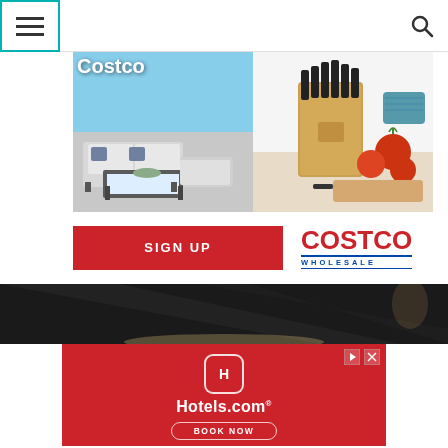[Figure (screenshot): Navigation bar with hamburger menu icon (teal border) on left and search icon on right]
[Figure (photo): Costco promotional banner showing outdoor patio furniture (sectional sofa set) on the left and a knife block set with tomatoes on the right. Text overlay reads 'Costco']
[Figure (logo): SIGN UP red button and Costco Wholesale logo]
[Figure (photo): Dark background image, appears to be a dark dining/atmospheric scene]
[Figure (screenshot): Hotels.com advertisement with red background showing Hotels.com icon, Hotels.com text with trademark symbol, and BOOK NOW button]